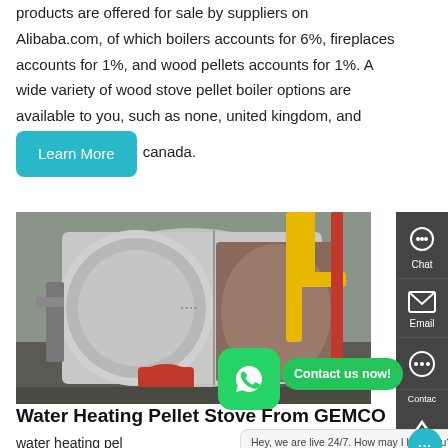products are offered for sale by suppliers on Alibaba.com, of which boilers accounts for 6%, fireplaces accounts for 1%, and wood pellets accounts for 1%. A wide variety of wood stove pellet boiler options are available to you, such as none, united kingdom, and canada.
[Figure (photo): Industrial pellet boiler/water heating stove in a factory setting, with yellow gas pipes, red fittings, and a large cylindrical stainless steel body]
Water Heating Pellet Stove From GEMCO
water heating pel... to heat your home or business (hotel, restaurant, hospital, etc.)